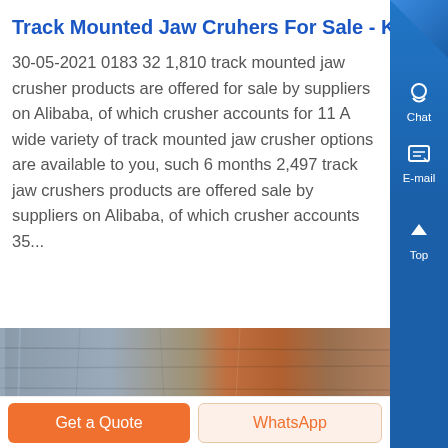Track Mounted Jaw Cruhers For Sale - Know More
30-05-2021 0183 32 1,810 track mounted jaw crusher products are offered for sale by suppliers on Alibaba, of which crusher accounts for 11 A wide variety of track mounted jaw crusher options are available to you, such 6 months 2,497 track jaw crushers products are offered sale by suppliers on Alibaba, of which crusher accounts 35...
[Figure (photo): Photo of stone/rock material showing grey and brown/orange colored rocks or crushed stone]
Get a Quote
WhatsApp